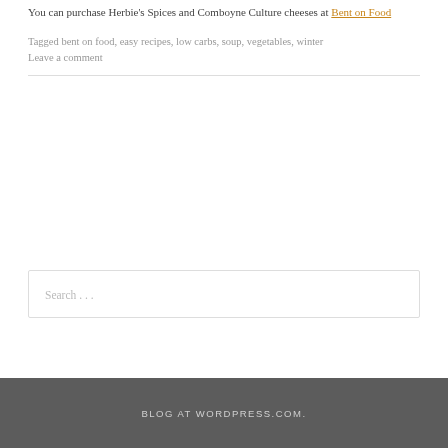You can purchase Herbie's Spices and Comboyne Culture cheeses at Bent on Food
Tagged bent on food, easy recipes, low carbs, soup, vegetables, winter
Leave a comment
Search …
BLOG AT WORDPRESS.COM.